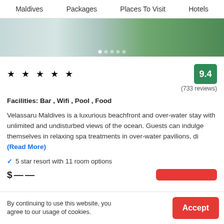Maldives   Packages   Places To Visit   Hotels
[Figure (photo): Hero image showing tropical foliage and water, with carousel dots at the bottom]
★★★★★   9.4   (733 reviews)
Facilities: Bar , Wifi , Pool , Food
Velassaru Maldives is a luxurious beachfront and over-water stay with unlimited and undisturbed views of the ocean. Guests can indulge themselves in relaxing spa treatments in over-water pavilions, di (Read More)
✓  5 star resort with 11 room options
By continuing to use this website, you agree to our usage of cookies.   Accept